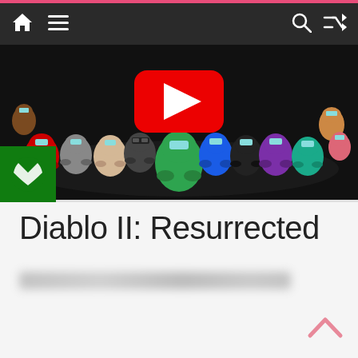Website navigation bar with home icon, menu icon, search icon, shuffle icon
[Figure (screenshot): YouTube video thumbnail showing Among Us characters (colorful crewmate figures) with a red YouTube play button in the center, and an Xbox green badge in the bottom-left corner]
Diablo II: Resurrected
[blurred subtitle/tagline text]